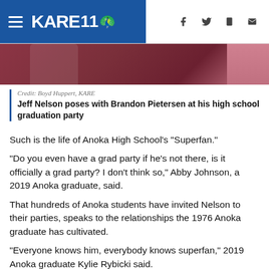KARE 11
[Figure (photo): Partial photo of person wearing dark maroon/burgundy polo shirt, cropped to show torso/collar area]
Credit: Boyd Huppert, KARE
Jeff Nelson poses with Brandon Pietersen at his high school graduation party
Such is the life of Anoka High School’s “Superfan.”
“Do you even have a grad party if he’s not there, is it officially a grad party? I don’t think so,” Abby Johnson, a 2019 Anoka graduate, said.
That hundreds of Anoka students have invited Nelson to their parties, speaks to the relationships the 1976 Anoka graduate has cultivated.
“Everyone knows him, everybody knows superfan,” 2019 Anoka graduate Kylie Rybicki said.
Students have Nelson…